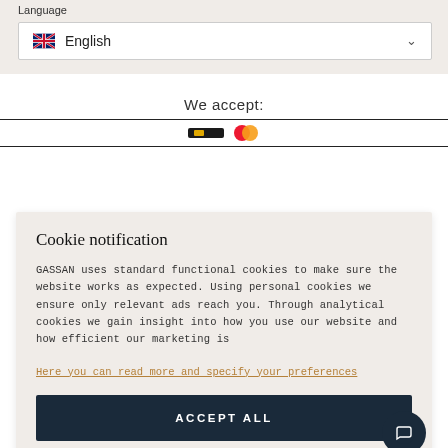Language
English
We accept:
Cookie notification
GASSAN uses standard functional cookies to make sure the website works as expected. Using personal cookies we ensure only relevant ads reach you. Through analytical cookies we gain insight into how you use our website and how efficient our marketing is
Here you can read more and specify your preferences
ACCEPT ALL